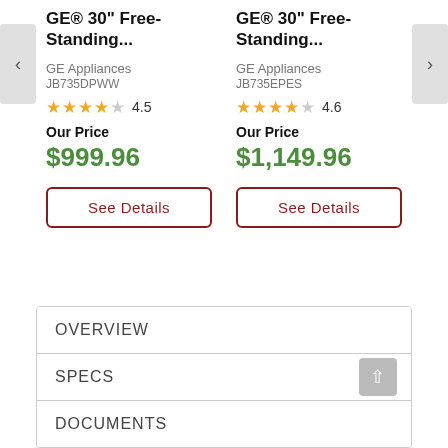GE® 30" Free-Standing...
GE Appliances
JB735DPWW
★★★★☆ 4.5
Our Price
$999.96
GE® 30" Free-Standing...
GE Appliances
JB735EPES
★★★★☆ 4.6
Our Price
$1,149.96
See Details
See Details
OVERVIEW
SPECS
DOCUMENTS